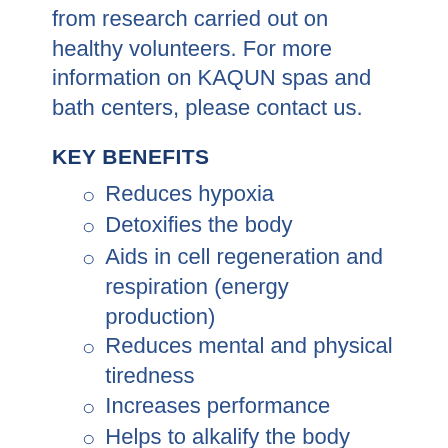from research carried out on healthy volunteers. For more information on KAQUN spas and bath centers, please contact us.
KEY BENEFITS
Reduces hypoxia
Detoxifies the body
Aids in cell regeneration and respiration (energy production)
Reduces mental and physical tiredness
Increases performance
Helps to alkalify the body
Positively influences metabolism at the cellular level